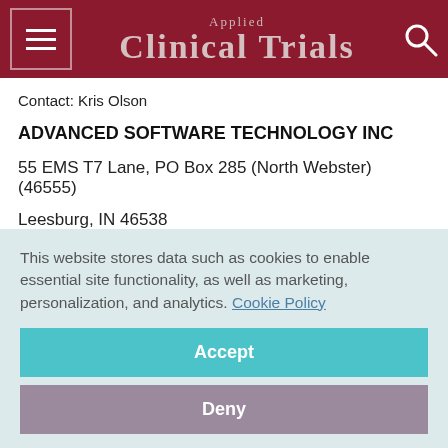Applied Clinical Trials
Contact: Kris Olson
ADVANCED SOFTWARE TECHNOLOGY INC
55 EMS T7 Lane, PO Box 285 (North Webster) (46555)
Leesburg, IN 46538
Business: 574-834-4869
This website stores data such as cookies to enable essential site functionality, as well as marketing, personalization, and analytics. Cookie Policy
Accept
Deny